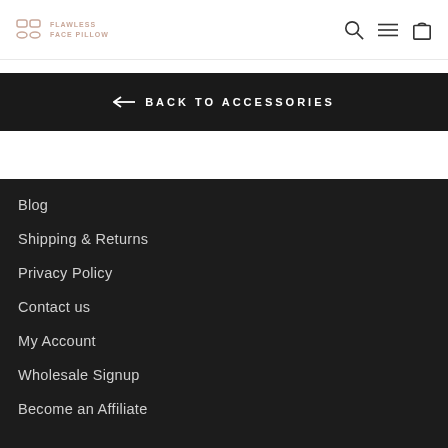FLAWLESS FACE PILLOW
← BACK TO ACCESSORIES
Blog
Shipping & Returns
Privacy Policy
Contact us
My Account
Wholesale Signup
Become an Affiliate